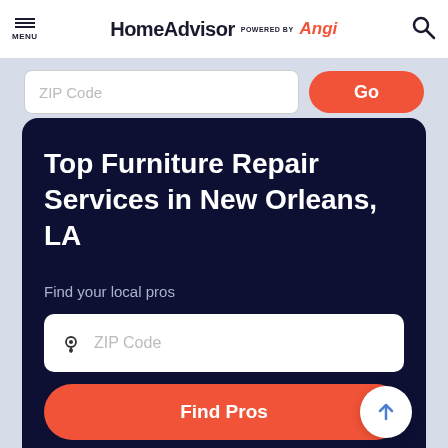MENU | HomeAdvisor POWERED BY Angi
ZIP Code
Go
Top Furniture Repair Services in New Orleans, LA
Find your local pros
ZIP Code
Find Pros